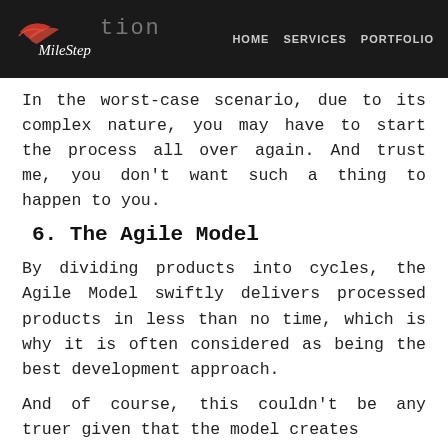MileStep — HOME  SERVICES  PORTFOLIO
In the worst-case scenario, due to its complex nature, you may have to start the process all over again. And trust me, you don't want such a thing to happen to you.
6. The Agile Model
By dividing products into cycles, the Agile Model swiftly delivers processed products in less than no time, which is why it is often considered as being the best development approach.
And of course, this couldn't be any truer given that the model creates